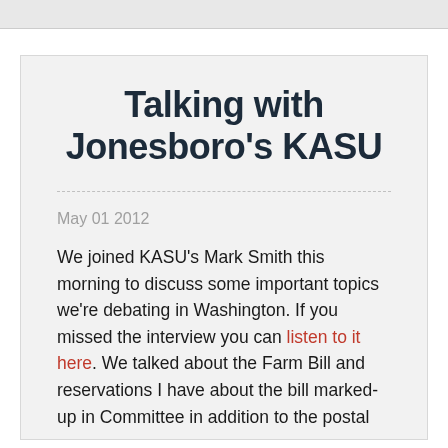Talking with Jonesboro's KASU
May 01 2012
We joined KASU's Mark Smith this morning to discuss some important topics we're debating in Washington. If you missed the interview you can listen to it here. We talked about the Farm Bill and reservations I have about the bill marked-up in Committee in addition to the postal